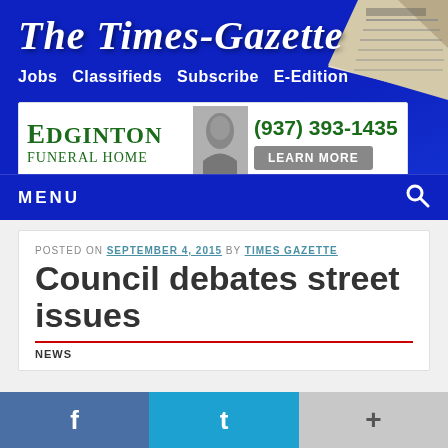The Times-Gazette
Jobs  Classifieds  Subscribe  E-Edition
[Figure (screenshot): Advertisement for Edginton Funeral Home with phone number (937) 393-1435 and Learn More button]
MENU
POSTED ON SEPTEMBER 4, 2015 BY TIMES GAZETTE
Council debates street issues
NEWS